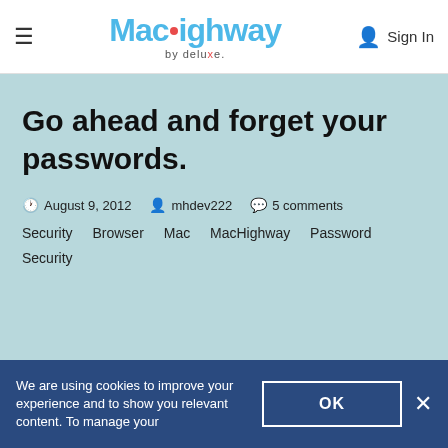MacHighway by deluxe. Sign In
Go ahead and forget your passwords.
August 9, 2012  mhdev222  5 comments
Security  Browser  Mac  MacHighway  Password Security
We are using cookies to improve your experience and to show you relevant content. To manage your